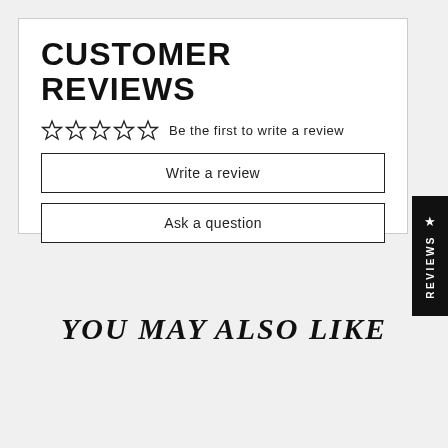CUSTOMER REVIEWS
☆☆☆☆☆  Be the first to write a review
Write a review
Ask a question
★ REVIEWS
YOU MAY ALSO LIKE